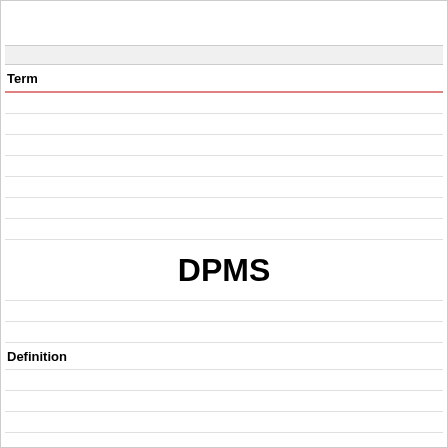| Term | Definition |
| --- | --- |
| DPMS |  |